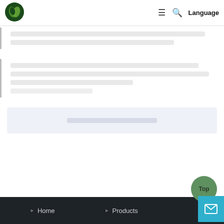[Figure (logo): Green circular logo with S-shape leaf design]
≡  🔍  Language
[Faded/redacted text block 1 - content not legible]
[Faded/redacted text block 2 - content not legible]
[Gray info box with redacted content]
▶ Home   ▶ Products
[Figure (other): Green 'Top' scroll-to-top circular button]
[Figure (other): Cyan/blue mail contact button]